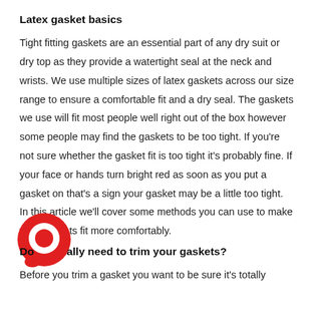Latex gasket basics
Tight fitting gaskets are an essential part of any dry suit or dry top as they provide a watertight seal at the neck and wrists. We use multiple sizes of latex gaskets across our size range to ensure a comfortable fit and a dry seal. The gaskets we use will fit most people well right out of the box however some people may find the gaskets to be too tight. If you're not sure whether the gasket fit is too tight it's probably fine. If your face or hands turn bright red as soon as you put a gasket on that's a sign your gasket may be a little too tight. In this article we'll cover some methods you can use to make your gaskets fit more comfortably.
[Figure (illustration): Red circle icon resembling a speech bubble or letter Q, overlapping the beginning of the second section header]
Do you really need to trim your gaskets?
Before you trim a gasket you want to be sure it's totally